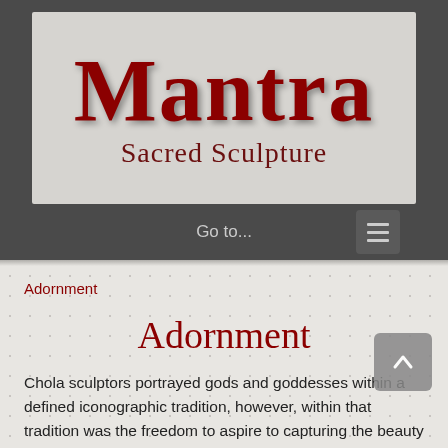[Figure (logo): Mantra Sacred Sculpture logo — large dark red serif text 'Mantra' above subtitle 'Sacred Sculpture' on a light grey background]
Go to...
Adornment
Adornment
Chola sculptors portrayed gods and goddesses within a defined iconographic tradition, however, within that tradition was the freedom to aspire to capturing the beauty